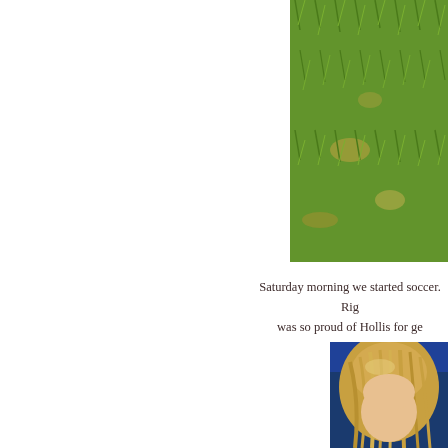[Figure (photo): Close-up photo of green grass on a soccer field, occupying the top-right portion of the page.]
Saturday morning we started soccer.  Rig was so proud of Hollis for ge
[Figure (photo): Close-up photo of a person with blonde hair against a blue background, occupying the bottom-right portion of the page.]